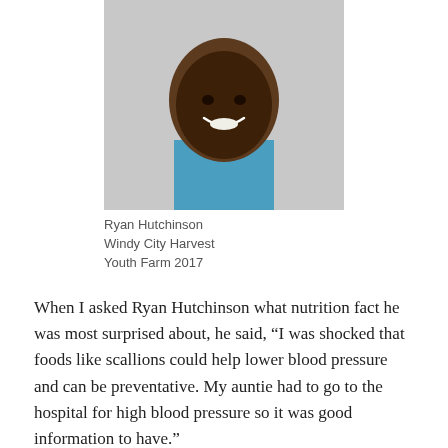[Figure (photo): Portrait photo of a young man smiling, wearing a blue t-shirt, cropped at shoulders]
Ryan Hutchinson
Windy City Harvest
Youth Farm 2017
When I asked Ryan Hutchinson what nutrition fact he was most surprised about, he said, “I was shocked that foods like scallions could help lower blood pressure and can be preventative. My auntie had to go to the hospital for high blood pressure so it was good information to have.”
[Figure (photo): Portrait photo of a young man smiling, cropped at shoulders, light background]